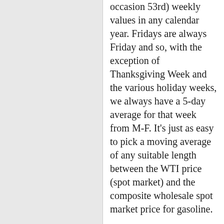occasion 53rd) weekly values in any calendar year. Fridays are always Friday and so, with the exception of Thanksgiving Week and the various holiday weeks, we always have a 5-day average for that week from M-F. It's just as easy to pick a moving average of any suitable length between the WTI price (spot market) and the composite wholesale spot market price for gasoline.

Furthermore, the values shown are the rolling 4 week average value so the "error" of shifting dominates when